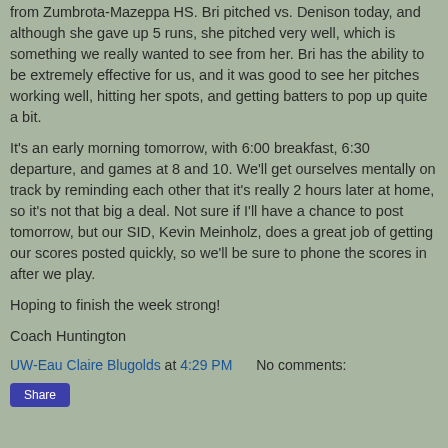from Zumbrota-Mazeppa HS. Bri pitched vs. Denison today, and although she gave up 5 runs, she pitched very well, which is something we really wanted to see from her. Bri has the ability to be extremely effective for us, and it was good to see her pitches working well, hitting her spots, and getting batters to pop up quite a bit.
It's an early morning tomorrow, with 6:00 breakfast, 6:30 departure, and games at 8 and 10. We'll get ourselves mentally on track by reminding each other that it's really 2 hours later at home, so it's not that big a deal. Not sure if I'll have a chance to post tomorrow, but our SID, Kevin Meinholz, does a great job of getting our scores posted quickly, so we'll be sure to phone the scores in after we play.
Hoping to finish the week strong!
Coach Huntington
UW-Eau Claire Blugolds at 4:29 PM   No comments:
Share